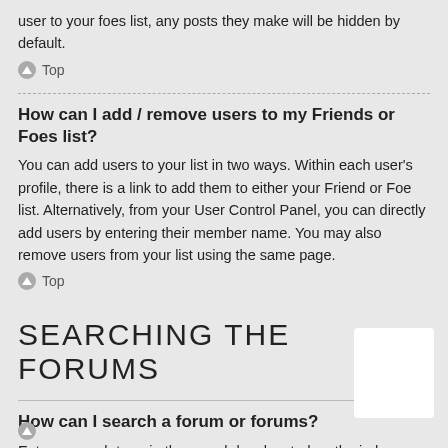user to your foes list, any posts they make will be hidden by default.
Top
How can I add / remove users to my Friends or Foes list?
You can add users to your list in two ways. Within each user's profile, there is a link to add them to either your Friend or Foe list. Alternatively, from your User Control Panel, you can directly add users by entering their member name. You may also remove users from your list using the same page.
Top
SEARCHING THE FORUMS
How can I search a forum or forums?
Enter a search term in the search box located on the index, forum or topic pages. Advanced search can be accessed by clicking the “Advance Search” link which is available on all pages on the forum. How to access the search may depend on the style used.